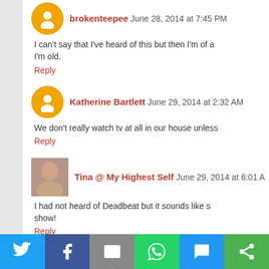brokenteepee June 28, 2014 at 7:45 PM
I can't say that I've heard of this but then I'm of a... I'm old.
Reply
Katherine Bartlett June 29, 2014 at 2:32 AM
We don't really watch tv at all in our house unless...
Reply
Tina @ My Highest Self June 29, 2014 at 6:01 AM
I had not heard of Deadbeat but it sounds like s... show!
Reply
Ellen June 29, 2014 at 10:15 AM